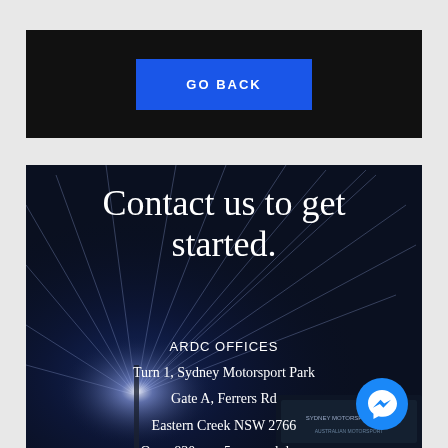[Figure (screenshot): Black banner with blue 'GO BACK' button centered]
GO BACK
[Figure (photo): Dark night-time background with bright starburst light effect, showing a motorsport venue at night. Contains contact information for ARDC Offices overlaid in white text. A Facebook Messenger chat bubble appears in the bottom right. A motorsport park sign is partially visible at the bottom right corner.]
Contact us to get started.
ARDC OFFICES
Turn 1, Sydney Motorsport Park
Gate A, Ferrers Rd
Eastern Creek NSW 2766
Open 830am - 5pm weekdays